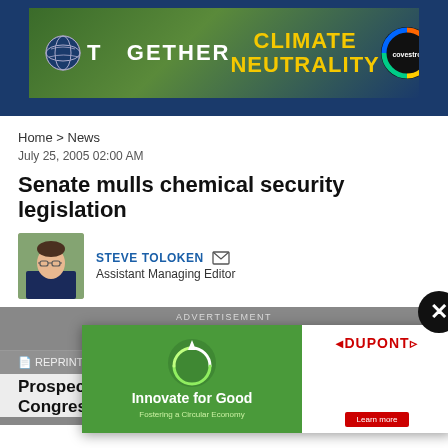[Figure (illustration): Banner advertisement for Covestro 'Together for Climate Neutrality' campaign with globe icon and colorful circular logo on a mountain landscape background]
Home > News
July 25, 2005 02:00 AM
Senate mulls chemical security legislation
STEVE TOLOKEN  Assistant Managing Editor
[Figure (photo): Headshot photo of Steve Toloken, a man with glasses]
ADVERTISEMENT
REPRINT
Prospec
Congres
[Figure (illustration): Popup advertisement: left side green background with recycling/circular economy imagery and text 'Innovate for Good - Fostering a Circular Economy'; right side white background with DuPont logo and 'Learn more' red button. Close X button in top right corner.]